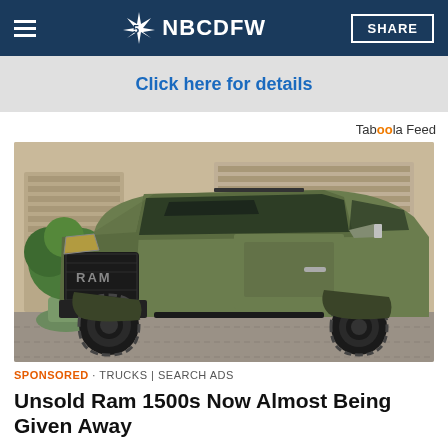NBC5 NBCDFW  SHARE
[Figure (screenshot): Ad banner with text 'Click here for details' on grey background]
Taboola Feed
[Figure (photo): Matte olive green Ram 1500 TRX pickup truck parked in front of a garage, viewed from front-left angle. Tree in pot visible on left.]
SPONSORED · TRUCKS | SEARCH ADS
Unsold Ram 1500s Now Almost Being Given Away